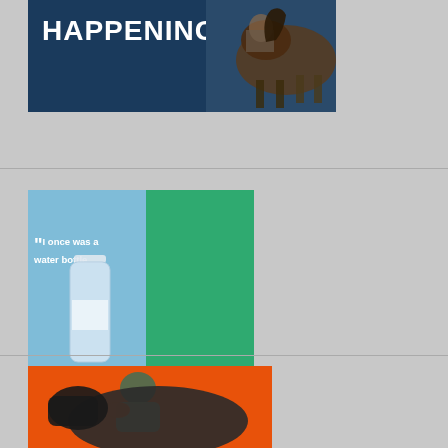[Figure (illustration): Dark navy blue banner advertisement with bold white uppercase text 'HAPPENING"' with a white arrow pointing right, and a horse/rider photo on the right side]
[Figure (illustration): SmartPak advertisement with light blue left panel showing a water bottle and supplement packs, and green right panel with SmartPak logo, text 'I once was a water bottle, now I am a SmartPak' and 'Learn More' button]
[Figure (photo): Orange background advertisement showing a woman in equestrian gear leaning against a dark horse]